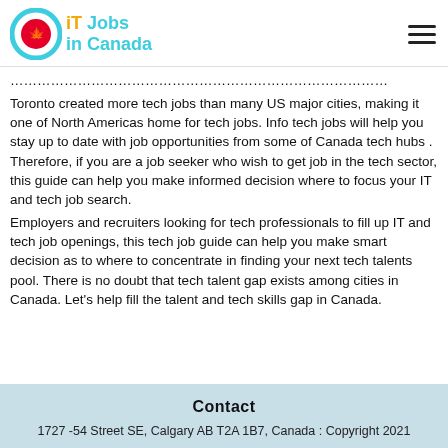IT Jobs in Canada
Toronto created more tech jobs than many US major cities, making it one of North Americas home for tech jobs. Info tech jobs will help you stay up to date with job opportunities from some of Canada tech hubs . Therefore, if you are a job seeker who wish to get job in the tech sector, this guide can help you make informed decision where to focus your IT and tech job search.
Employers and recruiters looking for tech professionals to fill up IT and tech job openings, this tech job guide can help you make smart decision as to where to concentrate in finding your next tech talents pool. There is no doubt that tech talent gap exists among cities in Canada. Let's help fill the talent and tech skills gap in Canada.
Contact
1727 -54 Street SE, Calgary AB T2A 1B7, Canada : Copyright 2021